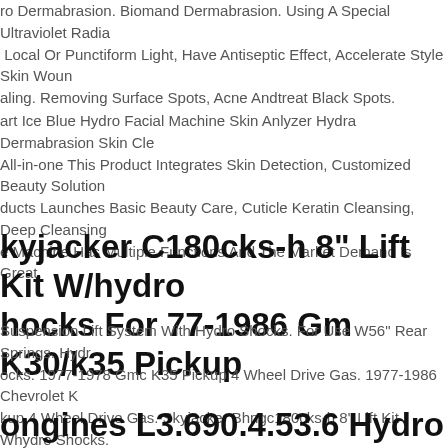ro Dermabrasion. Biomand Dermabrasion. Using A Special Ultraviolet Radia Local Or Punctiform Light, Have Antiseptic Effect, Accelerate Style Skin Woun aling. Removing Surface Spots, Acne Andtreat Black Spots.
art Ice Blue Hydro Facial Machine Skin Anlyzer Hydra Dermabrasion Skin Cle All-in-one This Product Integrates Skin Detection, Customized Beauty Solution ducts Launches Basic Beauty Care, Cuticle Keratin Cleansing, Deep Cleansing e Machine Has Multiple Functions And The Market Demand Is Great.
kyjacker C180cks-h 8" Lift Kit W/hydro hocks For 77-1986 Gm K30/k35 Pickup
Suspension Lift System With Hydro Shocks. For Use W56" Rear Springs. Hydr ocks. 1977-1978 Gmc K35 Pickup 4 Wheel Drive Gas. 1977-1986 Chevrolet K kup 4 Wheel Drive Gas. Skyjacker Bhngc180cks-h 8" Lift Kit Whydro Shocks.
ongines L3.690.4.53.6 Hydro Conquest